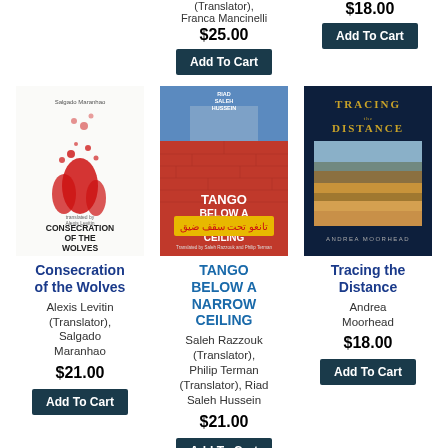(Translator), Franca Mancinelli
$25.00
Add To Cart
$18.00
Add To Cart
[Figure (illustration): Book cover: Consecration of the Wolves - white cover with red ink splatter figures]
[Figure (illustration): Book cover: Tango Below a Narrow Ceiling - red brick wall building with title in white and Arabic text on yellow band]
[Figure (illustration): Book cover: Tracing the Distance - dark blue cover with landscape painting and gold title text]
Consecration of the Wolves
Alexis Levitin (Translator), Salgado Maranhao
$21.00
Add To Cart
TANGO BELOW A NARROW CEILING
Saleh Razzouk (Translator), Philip Terman (Translator), Riad Saleh Hussein
$21.00
Add To Cart
Tracing the Distance
Andrea Moorhead
$18.00
Add To Cart